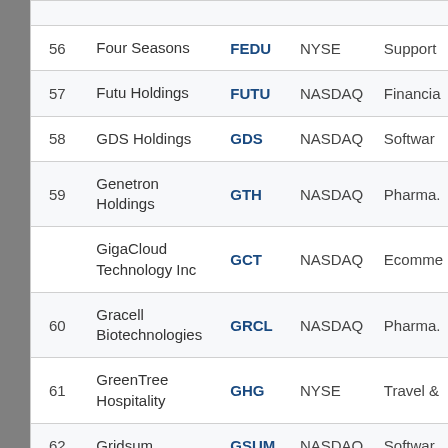| # | Company | Ticker | Exchange | Sector |
| --- | --- | --- | --- | --- |
| 56 | Four Seasons | FEDU | NYSE | Support |
| 57 | Futu Holdings | FUTU | NASDAQ | Financial |
| 58 | GDS Holdings | GDS | NASDAQ | Software |
| 59 | Genetron Holdings | GTH | NASDAQ | Pharma. |
|  | GigaCloud Technology Inc | GCT | NASDAQ | Ecomme |
| 60 | Gracell Biotechnologies | GRCL | NASDAQ | Pharma. |
| 61 | GreenTree Hospitality | GHG | NYSE | Travel & |
| 62 | Gridsum | GSUM | NASDAQ | Software |